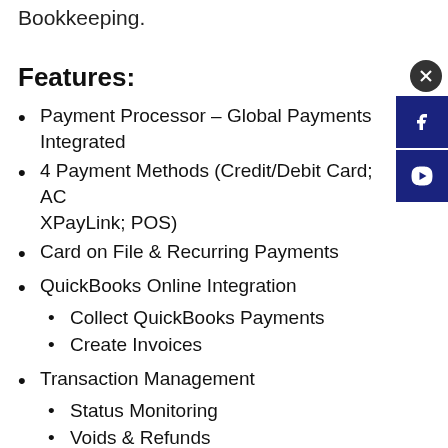Bookkeeping.
Features:
Payment Processor – Global Payments Integrated
4 Payment Methods (Credit/Debit Card; ACH; XPayLink; POS)
Card on File & Recurring Payments
QuickBooks Online Integration
Collect QuickBooks Payments
Create Invoices
Transaction Management
Status Monitoring
Voids & Refunds